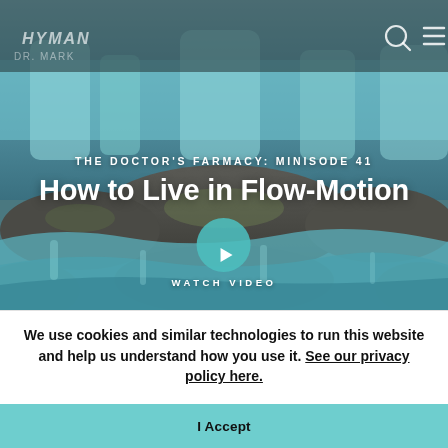[Figure (screenshot): Hero image of a flowing waterfall over rocks with teal/blue-green water, used as background for a podcast episode page. Navigation bar at top with logo and search/menu icons.]
THE DOCTOR'S FARMACY: MINISODE 41
How to Live in Flow-Motion
WATCH VIDEO
We use cookies and similar technologies to run this website and help us understand how you use it. See our privacy policy here.
I Accept